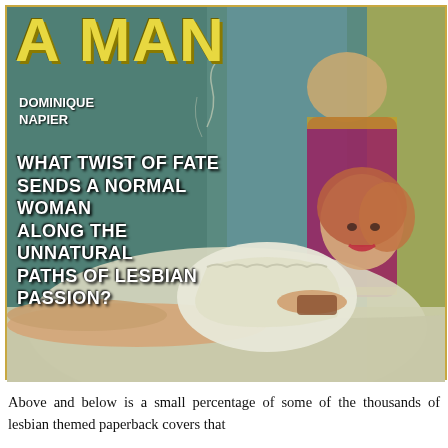[Figure (illustration): Vintage pulp paperback book cover showing a woman in white lingerie reclining on a bed, with another figure standing in the background. Yellow bold title text 'A MAN' at top, author name 'DOMINIQUE NAPIER', and tagline text about lesbian passion.]
Above and below is a small percentage of some of the thousands of lesbian themed paperback covers that